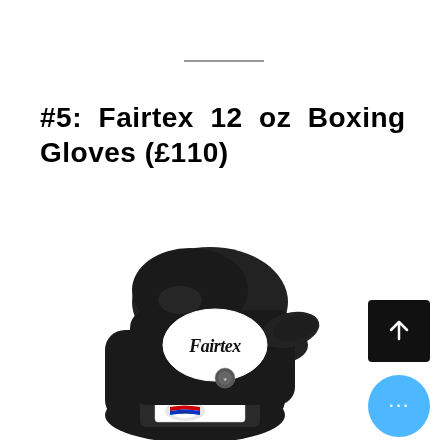#5: Fairtex 12 oz Boxing Gloves (£110)
[Figure (photo): Black Fairtex 12 oz boxing gloves stacked, with Fairtex logo visible on the wrist strap and embossed on the glove body.]